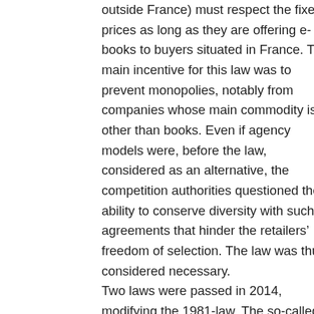outside France) must respect the fixed prices as long as they are offering e-books to buyers situated in France. The main incentive for this law was to prevent monopolies, notably from companies whose main commodity is other than books. Even if agency models were, before the law, considered as an alternative, the competition authorities questioned the ability to conserve diversity with such agreements that hinder the retailers' freedom of selection. The law was thus considered necessary. Two laws were passed in 2014, modifying the 1981-law. The so-called “anti-Amazon-law”, stated that the maximum 5 % discount should only be allowed for in-store purchases, as the online services offered systematically free shipping, a practice that was judged as causing unfair competition. The other law established the creation of a “book mediator”, an independent authority whose role is to intervene in conflicts related to the fixed book pricing.